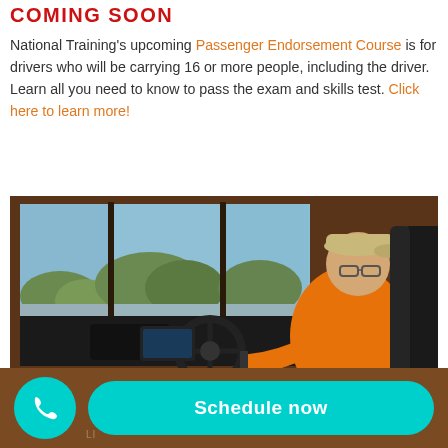COMING SOON
National Training's upcoming Passenger Endorsement Course is for drivers who will be carrying 16 or more people, including the driver. Learn all you need to know to pass the exam and skills test. Click here to learn more!
[Figure (photo): Man in orange shirt and tan cap sitting in a bus/truck driving simulator with multiple screens showing a road scene, viewed from behind/side.]
Schedule now